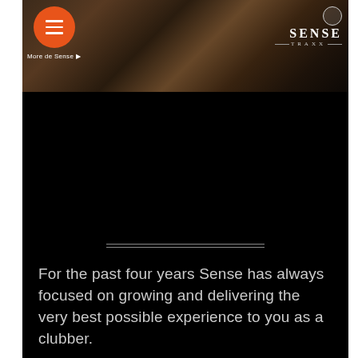[Figure (photo): Header navigation bar with orange hamburger menu button on the left, a dark sepia-toned crowd/club photo in the background, and the SENSE TRAXX logo on the upper right. Below the menu button is a small 'More de Sense' link.]
For the past four years Sense has always focused on growing and delivering the very best possible experience to you as a clubber.